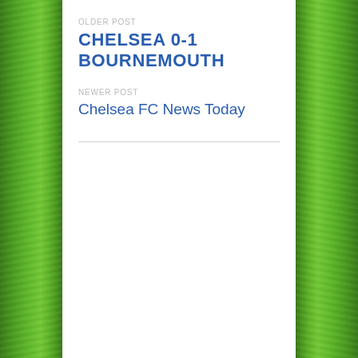OLDER POST
CHELSEA 0-1 BOURNEMOUTH
NEWER POST
Chelsea FC News Today